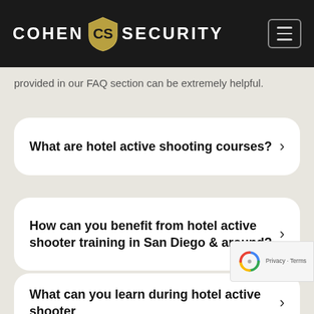COHEN SECURITY
provided in our FAQ section can be extremely helpful.
What are hotel active shooting courses?
How can you benefit from hotel active shooter training in San Diego & around?
What can you learn during hotel active shooter...